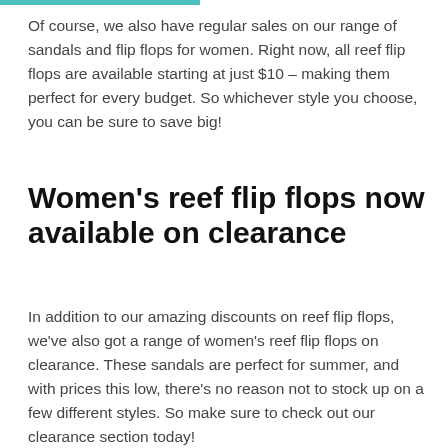Of course, we also have regular sales on our range of sandals and flip flops for women. Right now, all reef flip flops are available starting at just $10 – making them perfect for every budget. So whichever style you choose, you can be sure to save big!
Women's reef flip flops now available on clearance
In addition to our amazing discounts on reef flip flops, we've also got a range of women's reef flip flops on clearance. These sandals are perfect for summer, and with prices this low, there's no reason not to stock up on a few different styles. So make sure to check out our clearance section today!